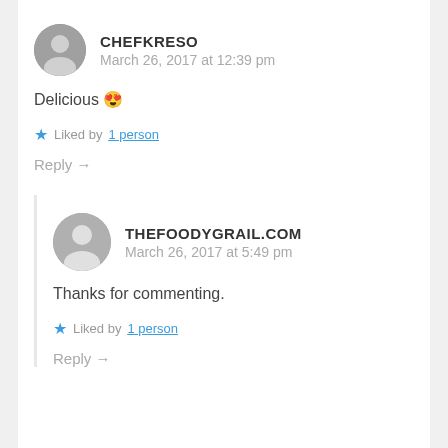CHEFKRESO
March 26, 2017 at 12:39 pm
Delicious 😍
Liked by 1 person
Reply →
THEFOODYGRAIL.COM
March 26, 2017 at 5:49 pm
Thanks for commenting.
Liked by 1 person
Reply →